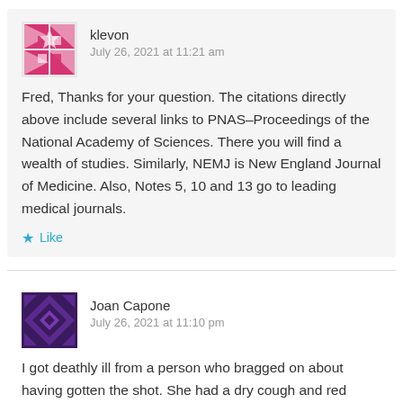klevon
July 26, 2021 at 11:21 am
Fred, Thanks for your question. The citations directly above include several links to PNAS–Proceedings of the National Academy of Sciences. There you will find a wealth of studies. Similarly, NEMJ is New England Journal of Medicine. Also, Notes 5, 10 and 13 go to leading medical journals.
Like
Joan Capone
July 26, 2021 at 11:10 pm
I got deathly ill from a person who bragged on about having gotten the shot. She had a dry cough and red cheeks , and i was fooled into thinking she was safe, took my mask off, the next